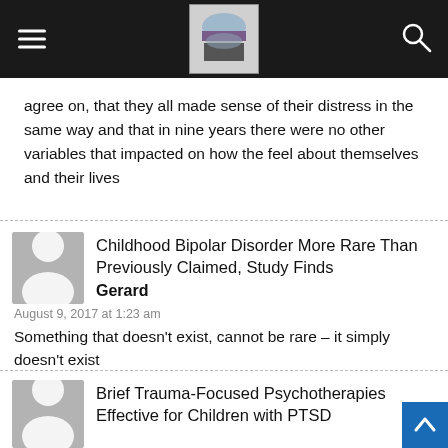Navigation bar with hamburger menu, site logo, and search icon
agree on, that they all made sense of their distress in the same way and that in nine years there were no other variables that impacted on how the feel about themselves and their lives
Childhood Bipolar Disorder More Rare Than Previously Claimed, Study Finds
Gerard
August 9, 2017 at 1:23 am
Something that doesn't exist, cannot be rare – it simply doesn't exist
Brief Trauma-Focused Psychotherapies Effective for Children with PTSD